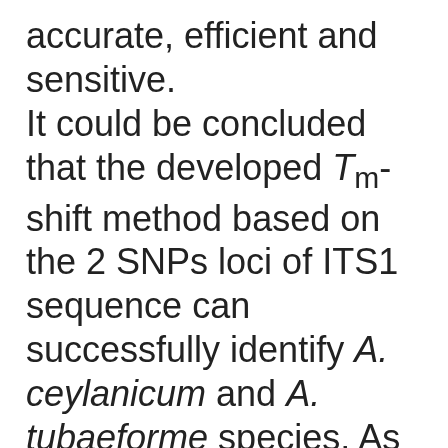accurate, efficient and sensitive. It could be concluded that the developed Tm-shift method based on the 2 SNPs loci of ITS1 sequence can successfully identify A. ceylanicum and A. tubaeforme species. As well as, it can provide a suitable technical mean for clinical diagnosis and zoonotic risk